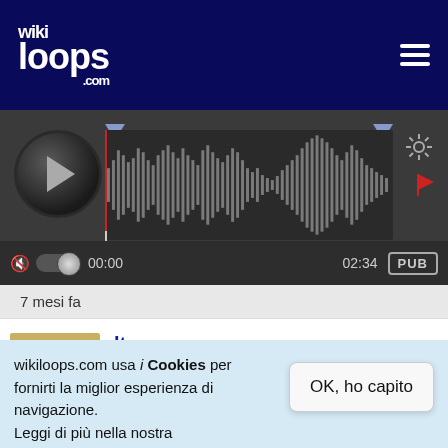[Figure (screenshot): Wikiloops.com website header with logo and hamburger menu on dark navy background]
[Figure (other): Audio player with waveform visualization, play button, time display 00:00 to 02:34, volume control, and PUB button]
7 mesi fa
[Figure (photo): Avatar photo of a small white dog]
ltocpogo
Thank You very much, Mr T!!!! I appreciate your very gracious comment my friend!!!
wikiloops.com usa i Cookies per fornirti la miglior esperienza di navigazione.
Leggi di più nella nostra
nota sulla tutela dei dati personali .